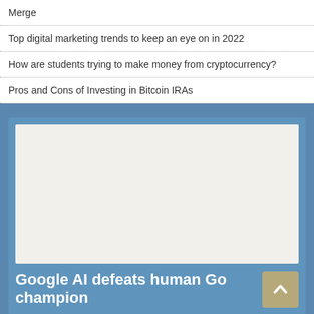Merge
Top digital marketing trends to keep an eye on in 2022
How are students trying to make money from cryptocurrency?
Pros and Cons of Investing in Bitcoin IRAs
[Figure (photo): Placeholder image area (light beige/off-white rectangle) within a blue card section]
Google AI defeats human Go champion